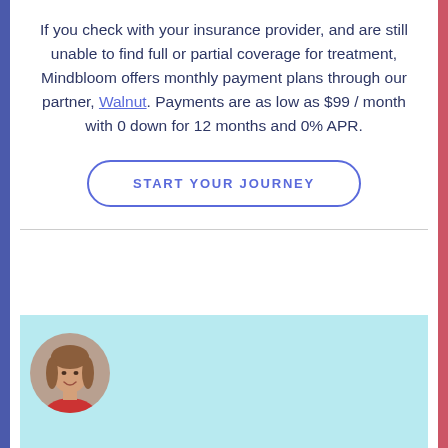If you check with your insurance provider, and are still unable to find full or partial coverage for treatment, Mindbloom offers monthly payment plans through our partner, Walnut. Payments are as low as $99 / month with 0 down for 12 months and 0% APR.
START YOUR JOURNEY
[Figure (photo): Circular portrait photo of a woman with brown hair, smiling, wearing a red top, on a light blue background]